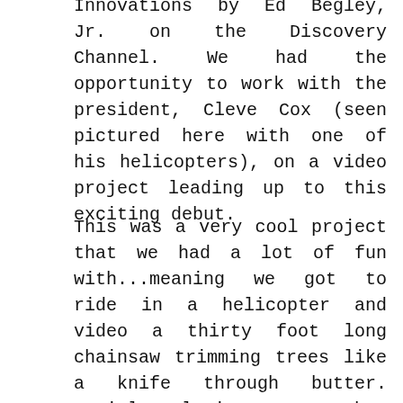Innovations by Ed Begley, Jr. on the Discovery Channel. We had the opportunity to work with the president, Cleve Cox (seen pictured here with one of his helicopters), on a video project leading up to this exciting debut.
This was a very cool project that we had a lot of fun with...meaning we got to ride in a helicopter and video a thirty foot long chainsaw trimming trees like a knife through butter. Aerial Solutions, Inc. has worked with utility companies across the United States since 1985 by offering a unique, fast and cost-effective